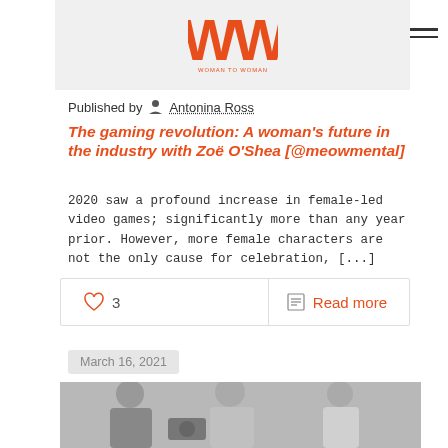Woman to Woman (logo)
Published by Antonina Ross
The gaming revolution: A woman's future in the industry with Zoë O'Shea [@meowmental]
2020 saw a profound increase in female-led video games; significantly more than any year prior. However, more female characters are not the only cause for celebration, [...]
3  Read more
March 16, 2021
[Figure (photo): Black and white photo of two men and a woman; two men appear to be working with equipment while a woman stands separately in the background]